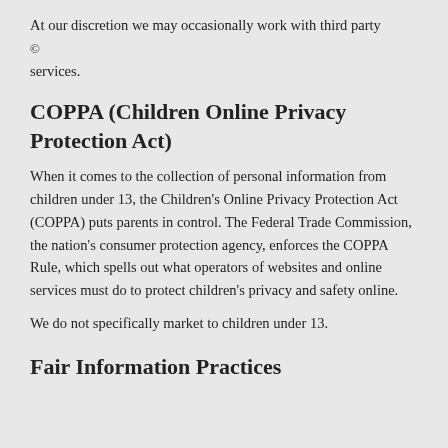At our discretion we may occasionally work with third party © services.
COPPA (Children Online Privacy Protection Act)
When it comes to the collection of personal information from children under 13, the Children's Online Privacy Protection Act (COPPA) puts parents in control. The Federal Trade Commission, the nation's consumer protection agency, enforces the COPPA Rule, which spells out what operators of websites and online services must do to protect children's privacy and safety online.
We do not specifically market to children under 13.
Fair Information Practices